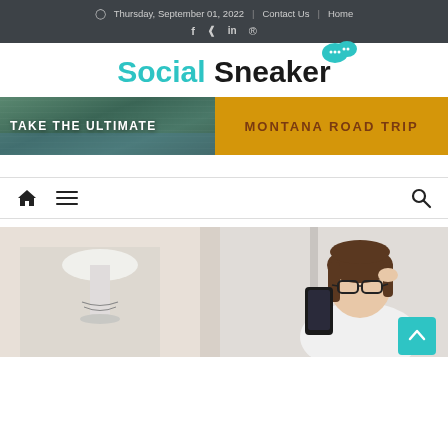Thursday, September 01, 2022 | Contact Us | Home
Social Sneaker
[Figure (illustration): Banner ad: TAKE THE ULTIMATE MONTANA ROAD TRIP — left half shows a forest/lake scenic photo, right half is golden yellow with brown bold text]
[Figure (screenshot): Navigation bar with home icon, hamburger menu icon, and search icon]
[Figure (photo): Woman with glasses and brown hair holding a smartphone, looking stressed or concerned, with a lamp in the background]